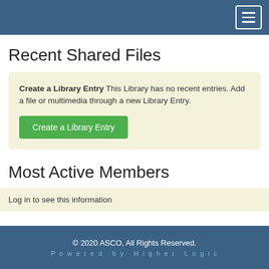Navigation menu (hamburger button)
Recent Shared Files
Create a Library Entry This Library has no recent entries. Add a file or multimedia through a new Library Entry.
Create a Library Entry
Most Active Members
Log in to see this information
© 2020 ASCO, All Rights Reserved. Powered by Higher Logic